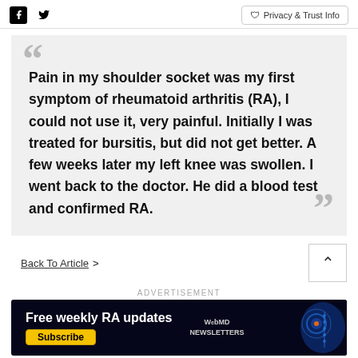Facebook Twitter | Privacy & Trust Info
Pain in my shoulder socket was my first symptom of rheumatoid arthritis (RA), I could not use it, very painful. Initially I was treated for bursitis, but did not get better. A few weeks later my left knee was swollen. I went back to the doctor. He did a blood test and confirmed RA.
Back To Article >
ADVERTISEMENT
[Figure (infographic): Advertisement banner for WebMD Newsletters: Free weekly RA updates with Subscribe button and WebMD Newsletters text, blue medical imagery on right side]